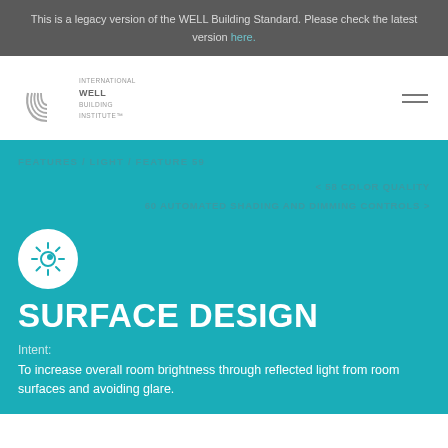This is a legacy version of the WELL Building Standard. Please check the latest version here.
[Figure (logo): International WELL Building Institute logo with circular arc graphic and text]
FEATURES / LIGHT / FEATURE 59
< 58 COLOR QUALITY
60 AUTOMATED SHADING AND DIMMING CONTROLS >
[Figure (illustration): White circle icon with sun/light symbol inside]
SURFACE DESIGN
Intent:
To increase overall room brightness through reflected light from room surfaces and avoiding glare.